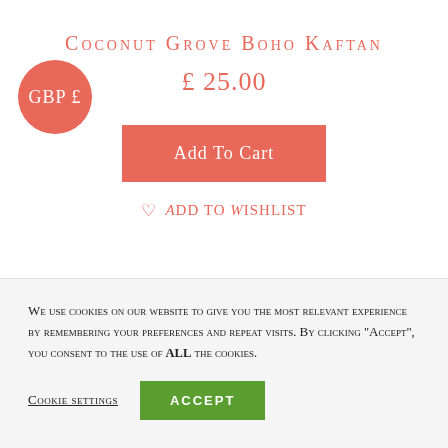COCONUT GROVE BOHO KAFTAN
£25.00
Add To Cart
♡ Add to Wishlist
We use cookies on our website to give you the most relevant experience by remembering your preferences and repeat visits. By clicking "Accept", you consent to the use of ALL the cookies.
Cookie settings
ACCEPT